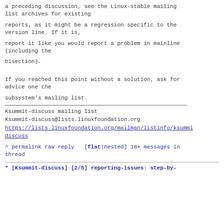a preceding discussion, see the Linux-stable mailing list archives for existing
reports, as it might be a regression specific to the version line. If it is,
report it like you would report a problem in mainline (including the
bisection).
If you reached this point without a solution, ask for advice one the
subsystem's mailing list.
Ksummit-discuss mailing list
Ksummit-discuss@lists.linuxfoundation.org
https://lists.linuxfoundation.org/mailman/listinfo/ksummit-discuss
^ permalink raw reply   [flat|nested] 18+ messages in thread
* [Ksummit-discuss] [2/5] reporting-issues: step-by-